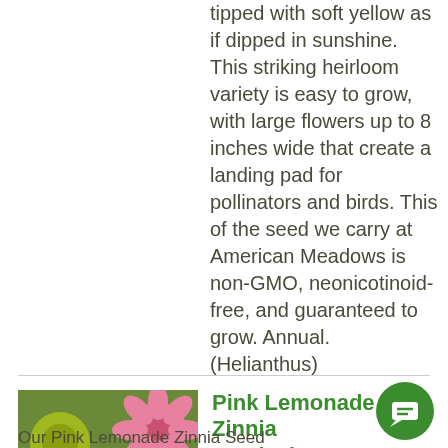tipped with soft yellow as if dipped in sunshine. This striking heirloom variety is easy to grow, with large flowers up to 8 inches wide that create a landing pad for pollinators and birds. This of the seed we carry at American Meadows is non-GMO, neonicotinoid-free, and guaranteed to grow. Annual. (Helianthus)
[Figure (photo): Colorful zinnia flowers in red, pink, and yellow-green, clustered together in a vibrant arrangement]
Pink Lemonade Zinnia Seed Mix
As low as $12.95
Per 1/4 Pound
LEARN MORE
Our Pink Lemonade Zinnia Seed